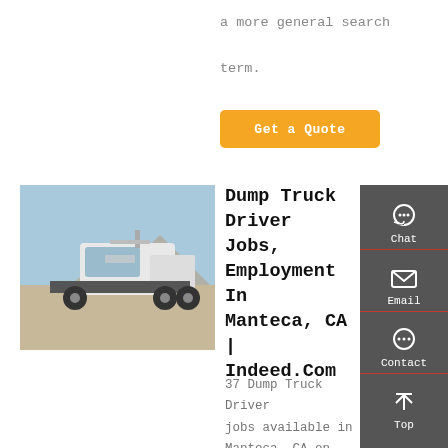a more general search term.
[Figure (other): Orange 'Get a Quote' button]
[Figure (photo): White semi-truck / dump truck parked in a lot]
Dump Truck Driver Jobs, Employment In Manteca, CA | Indeed.Com
37 Dump Truck Driver jobs available in Manteca, CA on Indeed.com. Apply to Truck Driver, Dump Truck
[Figure (other): Right sidebar with Chat, Email, Contact, Top icons on dark grey background]